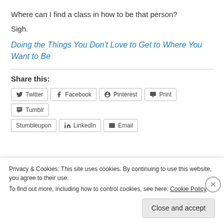Where can I find a class in how to be that person?
Sigh.
Doing the Things You Don't Love to Get to Where You Want to Be
Share this:
Twitter  Facebook  Pinterest  Print  Tumblr  Stumbleupon  LinkedIn  Email
Privacy & Cookies: This site uses cookies. By continuing to use this website, you agree to their use.
To find out more, including how to control cookies, see here: Cookie Policy
Close and accept